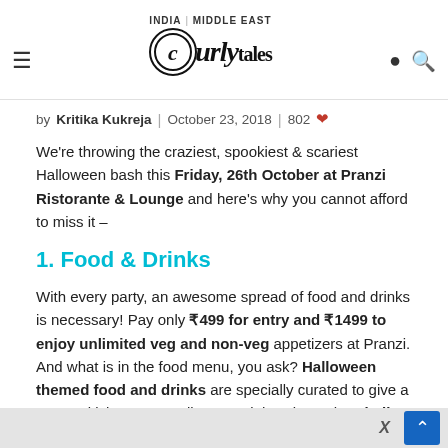INDIA | MIDDLE EAST — Curly Tales logo, hamburger menu, location and search icons
by Kritika Kukreja | October 23, 2018 | 802 ❤
We're throwing the craziest, spookiest & scariest Halloween bash this Friday, 26th October at Pranzi Ristorante & Lounge and here's why you cannot afford to miss it –
1. Food & Drinks
With every party, an awesome spread of food and drinks is necessary! Pay only ₹499 for entry and ₹1499 to enjoy unlimited veg and non-veg appetizers at Pranzi. And what is in the food menu, you ask? Halloween themed food and drinks are specially curated to give a greater kick to your Halloween night! Sip on the Skull cocktail, or enjoy the 7 Deadly Sins shots to get your buzz on.